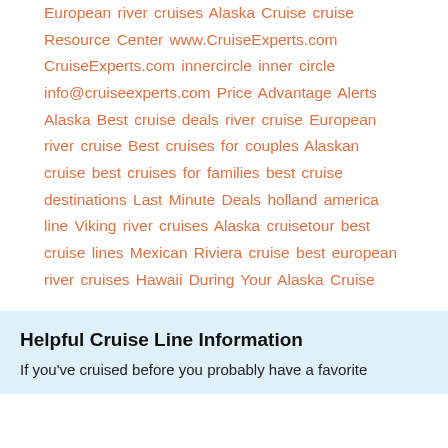European river cruises Alaska Cruise cruise Resource Center www.CruiseExperts.com CruiseExperts.com innercircle inner circle info@cruiseexperts.com Price Advantage Alerts Alaska Best cruise deals river cruise European river cruise Best cruises for couples Alaskan cruise best cruises for families best cruise destinations Last Minute Deals holland america line Viking river cruises Alaska cruisetour best cruise lines Mexican Riviera cruise best european river cruises Hawaii During Your Alaska Cruise
Helpful Cruise Line Information
If you've cruised before you probably have a favorite